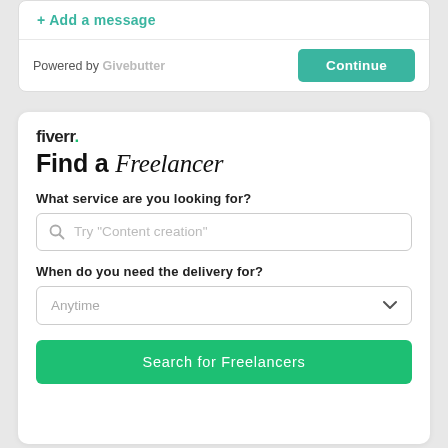+ Add a message
Powered by Givebutter
Continue
fiverr.
Find a Freelancer
What service are you looking for?
Try "Content creation"
When do you need the delivery for?
Anytime
Search for Freelancers